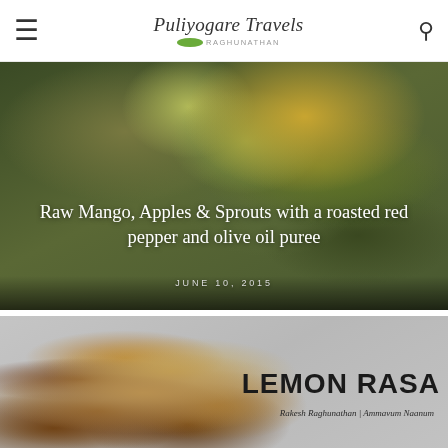Puliyogare Travels
[Figure (photo): Overhead shot of raw mango, apple slices and sprouts salad with roasted red pepper and olive oil puree on a plate]
Raw Mango, Apples & Sprouts with a roasted red pepper and olive oil puree
JUNE 10, 2015
[Figure (photo): Overhead shot of lemon rasam in a copper bowl with tomatoes and curry leaves on a grey stone surface. Text overlay reads LEMON RASA and Rakesh Raghunathan | Ammavum Naanum]